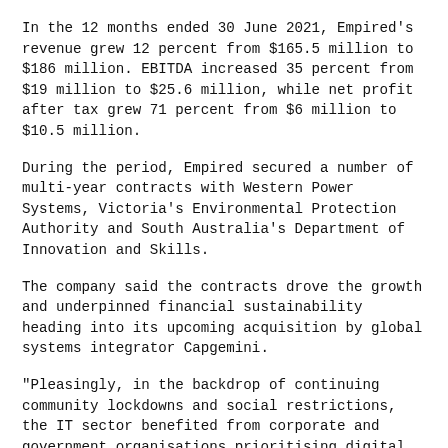In the 12 months ended 30 June 2021, Empired's revenue grew 12 percent from $165.5 million to $186 million. EBITDA increased 35 percent from $19 million to $25.6 million, while net profit after tax grew 71 percent from $6 million to $10.5 million.
During the period, Empired secured a number of multi-year contracts with Western Power Systems, Victoria's Environmental Protection Authority and South Australia's Department of Innovation and Skills.
The company said the contracts drove the growth and underpinned financial sustainability heading into its upcoming acquisition by global systems integrator Capgemini.
“Pleasingly, in the backdrop of continuing community lockdowns and social restrictions, the IT sector benefited from corporate and government organisations prioritising digital initiatives,” Empired managing director Russell Baskerville told shareholders.